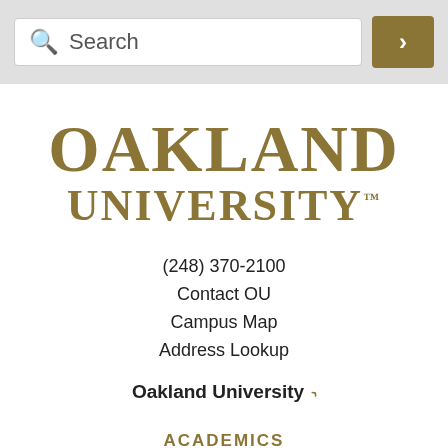[Figure (screenshot): Search bar with magnifying glass icon and text 'Search', and a gold arrow button on the right]
[Figure (logo): Oakland University logo in gold serif text: OAKLAND UNIVERSITY with trademark symbol]
(248) 370-2100
Contact OU
Campus Map
Address Lookup
Oakland University ›
ACADEMICS